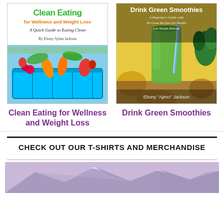[Figure (photo): Book cover: Clean Eating for Wellness and Weight Loss by Ebony Ajima Jackson, featuring colorful vegetables in a blue crate]
Clean Eating for Wellness and Weight Loss
[Figure (photo): Book cover: Drink Green Smoothies - A Beginner's Guide with 60 Great Recipes for Health and Weight Release, by Ebony 'Ajimo' Jackson, featuring a green smoothie in a glass]
Drink Green Smoothies
CHECK OUT OUR T-SHIRTS AND MERCHANDISE
[Figure (photo): Partial image of mountains with lavender/purple sky, bottom of page]